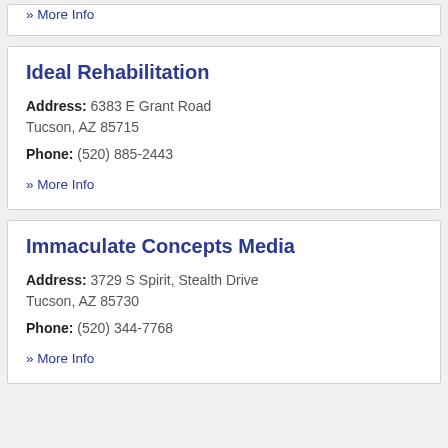» More Info
Ideal Rehabilitation
Address: 6383 E Grant Road Tucson, AZ 85715
Phone: (520) 885-2443
» More Info
Immaculate Concepts Media
Address: 3729 S Spirit, Stealth Drive Tucson, AZ 85730
Phone: (520) 344-7768
» More Info